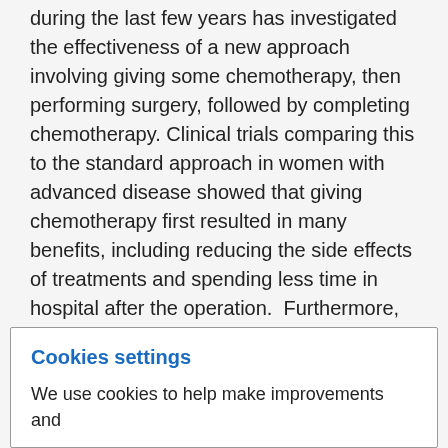during the last few years has investigated the effectiveness of a new approach involving giving some chemotherapy, then performing surgery, followed by completing chemotherapy. Clinical trials comparing this to the standard approach in women with advanced disease showed that giving chemotherapy first resulted in many benefits, including reducing the side effects of treatments and spending less time in hospital after the operation.  Furthermore, this new approach did not impact on the overall survival patterns and both approaches resulted in the same long-term outcomes.
Cookies settings
We use cookies to help make improvements and